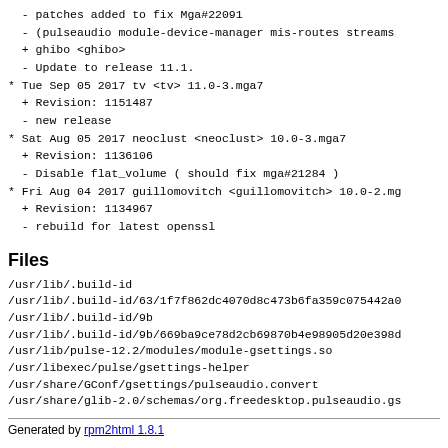- patches added to fix Mga#22091
- (pulseaudio module-device-manager mis-routes streams
+ ghibo <ghibo>
- Update to release 11.1.
* Tue Sep 05 2017 tv <tv> 11.0-3.mga7
  + Revision: 1151487
  - new release
* Sat Aug 05 2017 neoclust <neoclust> 10.0-3.mga7
  + Revision: 1136106
  - Disable flat_volume ( should fix mga#21284 )
* Fri Aug 04 2017 guillomovitch <guillomovitch> 10.0-2.mg
  + Revision: 1134967
  - rebuild for latest openssl
Files
/usr/lib/.build-id
/usr/lib/.build-id/63/1f7f862dc4070d8c473b6fa359c075442a0
/usr/lib/.build-id/9b
/usr/lib/.build-id/9b/669ba9ce78d2cb69870b4e98905d20e398d
/usr/lib/pulse-12.2/modules/module-gsettings.so
/usr/libexec/pulse/gsettings-helper
/usr/share/GConf/gsettings/pulseaudio.convert
/usr/share/glib-2.0/schemas/org.freedesktop.pulseaudio.gs
Generated by rpm2html 1.8.1